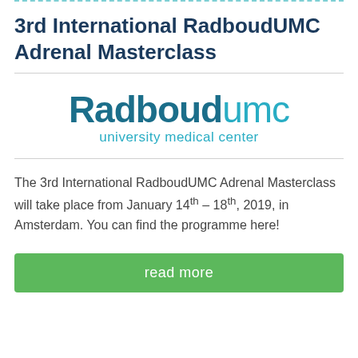3rd International RadboudUMC Adrenal Masterclass
[Figure (logo): Radboud umc university medical center logo in teal/dark blue colors]
The 3rd International RadboudUMC Adrenal Masterclass will take place from January 14th – 18th, 2019, in Amsterdam. You can find the programme here!
read more